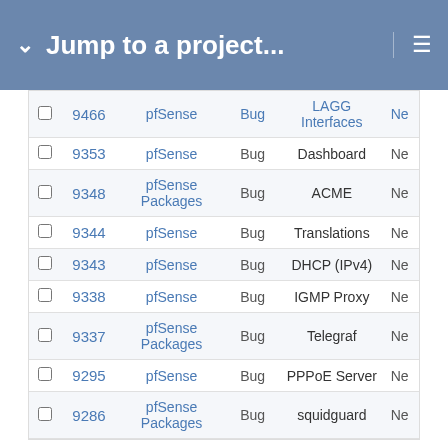Jump to a project...
|  | # | Project | Tracker | Category | Status |
| --- | --- | --- | --- | --- | --- |
|  | 9466 | pfSense | Bug | LAGG Interfaces | Ne |
|  | 9353 | pfSense | Bug | Dashboard | Ne |
|  | 9348 | pfSense Packages | Bug | ACME | Ne |
|  | 9344 | pfSense | Bug | Translations | Ne |
|  | 9343 | pfSense | Bug | DHCP (IPv4) | Ne |
|  | 9338 | pfSense | Bug | IGMP Proxy | Ne |
|  | 9337 | pfSense Packages | Bug | Telegraf | Ne |
|  | 9295 | pfSense | Bug | PPPoE Server | Ne |
|  | 9286 | pfSense Packages | Bug | squidguard | Ne |
« Previous | 3 | Next »
(201-300/1451) Per page: 25, 50, 100